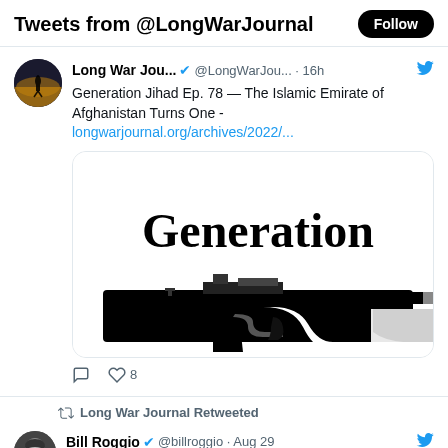Tweets from @LongWarJournal
Long War Jou... @LongWarJou... · 16h
Generation Jihad Ep. 78 — The Islamic Emirate of Afghanistan Turns One -
longwarjournal.org/archives/2022/...
[Figure (photo): Podcast cover image showing the word 'Generation' in bold black text above a black silhouette of an AK-47 style rifle on a white/gray background with rounded corners.]
♡ 8
Long War Journal Retweeted
Bill Roggio @billroggio · Aug 29